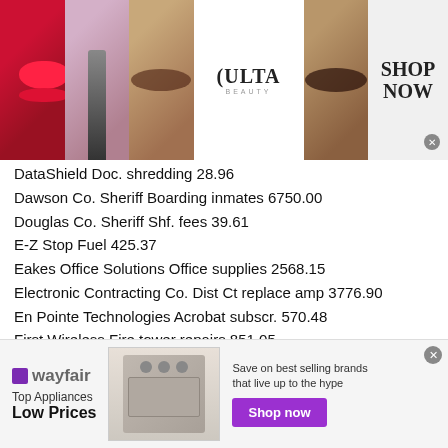[Figure (other): Ulta Beauty advertisement banner with makeup images, logo, and Shop Now button]
DataShield Doc. shredding 28.96
Dawson Co. Sheriff Boarding inmates 6750.00
Douglas Co. Sheriff Shf. fees 39.61
E-Z Stop Fuel 425.37
Eakes Office Solutions Office supplies 2568.15
Electronic Contracting Co. Dist Ct replace amp 3776.90
En Pointe Technologies Acrobat subscr. 570.48
First Wireless Fire tower repairs 851.05
Gage Co. Court Cert. copies 6.75
Garcia Clinical Lab Lab svcs. 15.00
Gleason Dental Clinic Inmate dental 100.98
[Figure (other): Wayfair advertisement banner with appliance image and Shop now button]